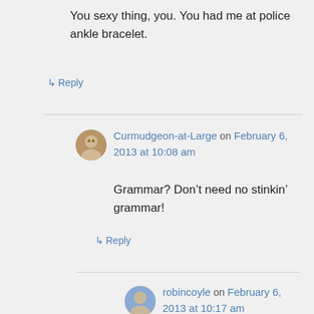You sexy thing, you. You had me at police ankle bracelet.
↳ Reply
Curmudgeon-at-Large on February 6, 2013 at 10:08 am
Grammar? Don't need no stinkin' grammar!
↳ Reply
robincoyle on February 6, 2013 at 10:17 am